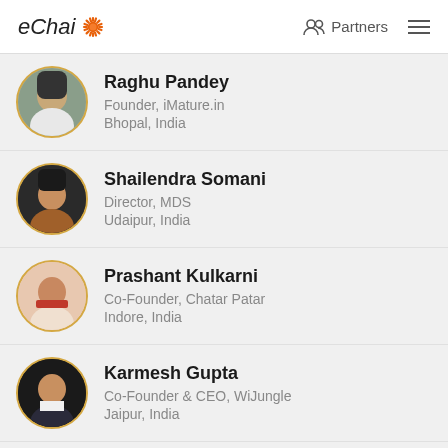eChai | Partners
Raghu Pandey | Founder, iMature.in | Bhopal, India
Shailendra Somani | Director, MDS | Udaipur, India
Prashant Kulkarni | Co-Founder, Chatar Patar | Indore, India
Karmesh Gupta | Co-Founder & CEO, WiJungle | Jaipur, India
Rajendra Lora | Co-Founder & CEO, Freshokartz | Jaipur, India
Jatin Solanki